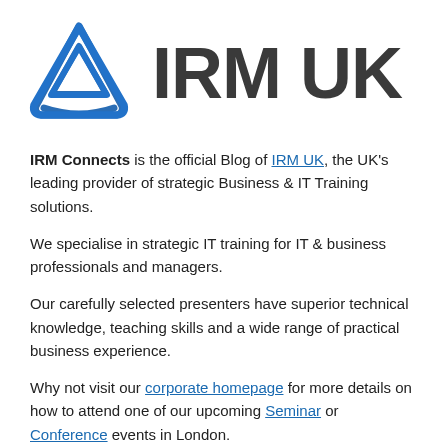[Figure (logo): IRM UK logo: blue triangular geometric mark with the text 'IRM UK' in bold dark grey]
IRM Connects is the official Blog of IRM UK, the UK's leading provider of strategic Business & IT Training solutions.
We specialise in strategic IT training for IT & business professionals and managers.
Our carefully selected presenters have superior technical knowledge, teaching skills and a wide range of practical business experience.
Why not visit our corporate homepage for more details on how to attend one of our upcoming Seminar or Conference events in London.